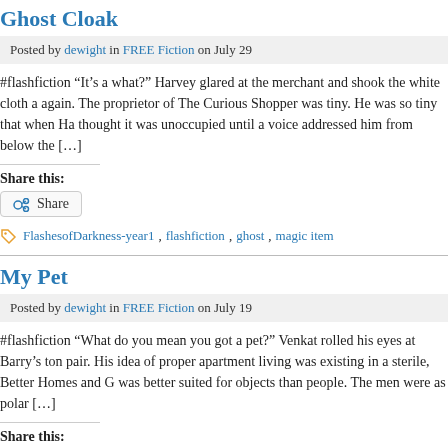Ghost Cloak
Posted by dewight in FREE Fiction on July 29
#flashfiction “It’s a what?” Harvey glared at the merchant and shook the white cloth again. The proprietor of The Curious Shopper was tiny. He was so tiny that when Ha thought it was unoccupied until a voice addressed him from below the […]
Share this:
Share
FlashesofDarkness-year1, flashfiction, ghost, magic item
My Pet
Posted by dewight in FREE Fiction on July 19
#flashfiction “What do you mean you got a pet?” Venkat rolled his eyes at Barry’s ton pair. His idea of proper apartment living was existing in a sterile, Better Homes and G was better suited for objects than people. The men were as polar […]
Share this:
Share